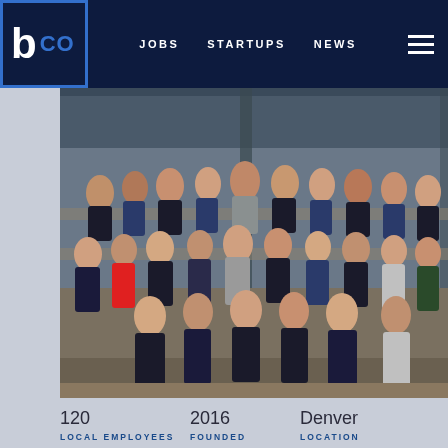b CO | JOBS | STARTUPS | NEWS
[Figure (photo): Group photo of approximately 60–80 company employees gathered on an outdoor patio/deck with bleacher-style seating, under a covered structure.]
120
LOCAL EMPLOYEES

2016
FOUNDED

Denver
LOCATION
ABOUT US
We help people save money and build wealth by encouraging smart home finance decisions. Our platform empowers consumers with personalized and actionable financial insights, and facilitates engagement with the experts that can help them manage this asset — their loan officer and real estate agent — through the full homeownership lifecycle. A win-win
TOP PERKS + BENEFITS